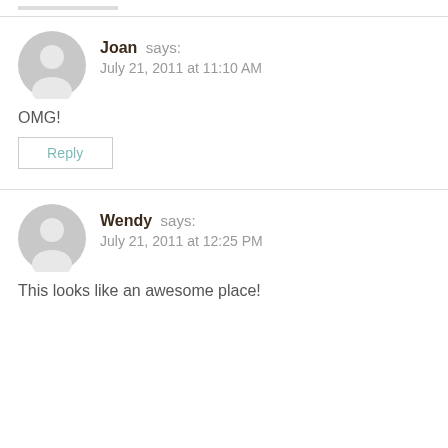Joan says: July 21, 2011 at 11:10 AM
OMG!
Reply
Wendy says: July 21, 2011 at 12:25 PM
This looks like an awesome place!